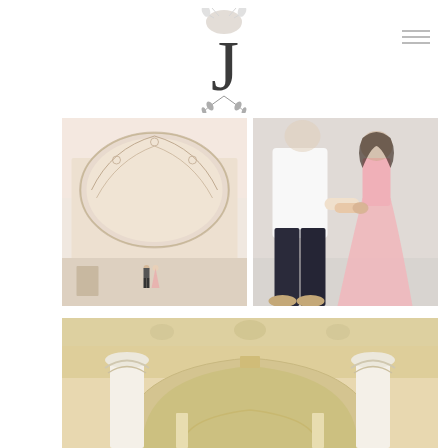[Figure (logo): Decorative monogram logo with letter J and botanical/branch illustration, centered at top of page]
[Figure (photo): Couple in pink dress and dark jeans standing small in front of ornate white building with decorative arch facade]
[Figure (photo): Couple holding hands close up, woman in flowing pink gown, man in white shirt and dark jeans, light background]
[Figure (photo): Close-up architectural photo of ornate building with arched colonnade, white columns with decorative Corinthian capitals and carved cream stonework]